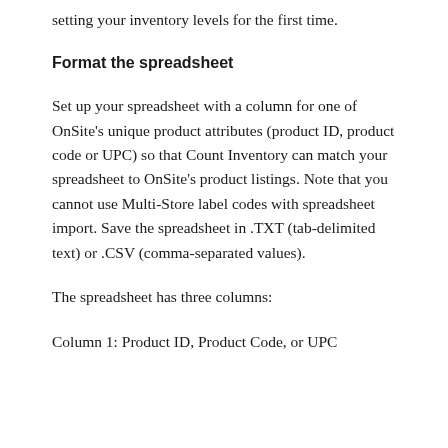setting your inventory levels for the first time.
Format the spreadsheet
Set up your spreadsheet with a column for one of OnSite’s unique product attributes (product ID, product code or UPC) so that Count Inventory can match your spreadsheet to OnSite’s product listings. Note that you cannot use Multi-Store label codes with spreadsheet import. Save the spreadsheet in .TXT (tab-delimited text) or .CSV (comma-separated values).
The spreadsheet has three columns:
Column 1: Product ID, Product Code, or UPC